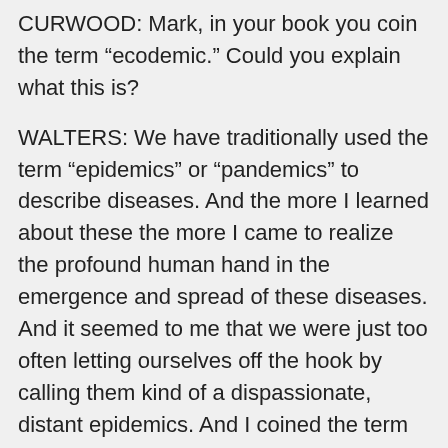CURWOOD: Mark, in your book you coin the term “ecodemic.” Could you explain what this is?
WALTERS: We have traditionally used the term “epidemics” or “pandemics” to describe diseases. And the more I learned about these the more I came to realize the profound human hand in the emergence and spread of these diseases. And it seemed to me that we were just too often letting ourselves off the hook by calling them kind of a dispassionate, distant epidemics. And I coined the term “ecodemics,” number one, to honor the deep ecological roots of these diseases and also, in the hope of trying to shift some of the responsibility for these to human beings and away from nature.
CURWOOD: You write that epidemics historically come in waves, brought on, in part, by human activity. Can you trace some history of this for us, please?